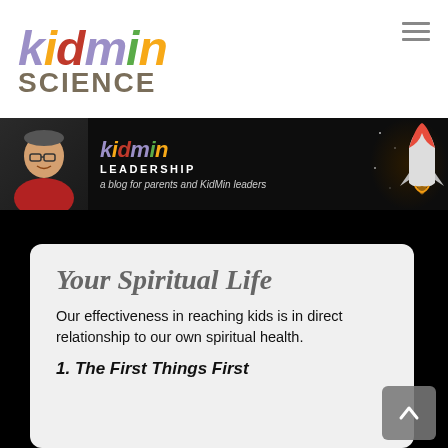[Figure (logo): KidMin Science logo — 'kidmin' in colored italic letters and 'SCIENCE' in bold brown/tan below]
[Figure (banner): KidMin Leadership banner with a smiling man in red jacket on left, kidmin LEADERSHIP logo in center, tagline 'a blog for parents and KidMin leaders', rocket on right]
Your Spiritual Life
Our effectiveness in reaching kids is in direct relationship to our own spiritual health.
1. The First Things First